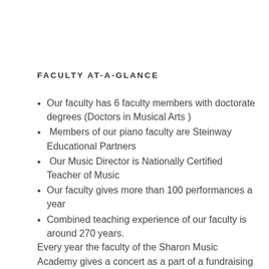FACULTY AT-A-GLANCE
Our faculty has 6 faculty members with doctorate degrees (Doctors in Musical Arts )
Members of our piano faculty are Steinway Educational Partners
Our Music Director is Nationally Certified Teacher of Music
Our faculty gives more than 100 performances a year
Combined teaching experience of our faculty is around 270 years.
Every year the faculty of the Sharon Music Academy gives a concert as a part of a fundraising event to benefit some